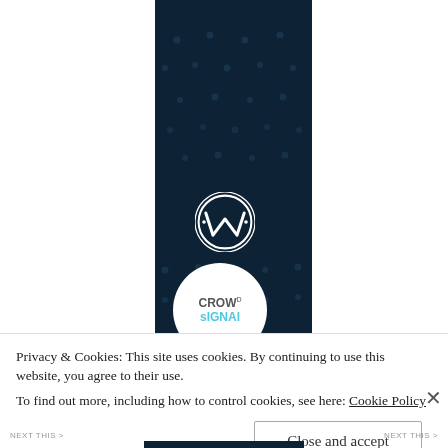[Figure (screenshot): Dark navy blue panel with dot grid pattern, pink bar at top, WordPress logo and Crowdsignal circular logo]
Privacy & Cookies: This site uses cookies. By continuing to use this website, you agree to their use.
To find out more, including how to control cookies, see here: Cookie Policy
Close and accept